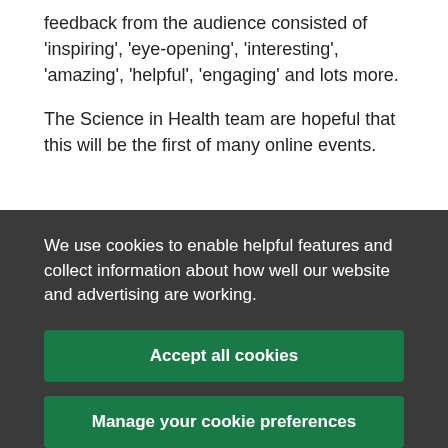feedback from the audience consisted of 'inspiring', 'eye-opening', 'interesting', 'amazing', 'helpful', 'engaging' and lots more.
The Science in Health team are hopeful that this will be the first of many online events.
We use cookies to enable helpful features and collect information about how well our website and advertising are working.
Accept all cookies
Manage your cookie preferences